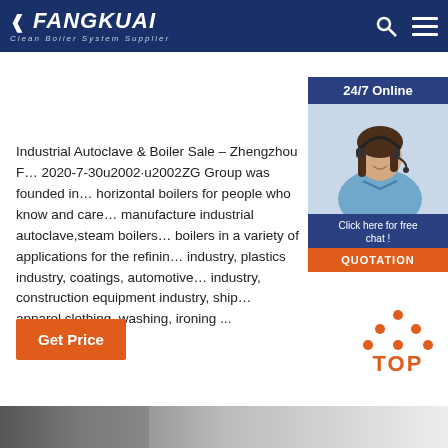FANGKUAI — Clean Boiler System Supplier
[Figure (photo): Customer service representative with headset, 24/7 Online widget with Click here for free chat and QUOTATION button]
Industrial Autoclave & Boiler Sale – Zhengzhou F... 2020-7-30u2002·u2002ZG Group was founded in... horizontal boilers for people who know and care... manufacture industrial autoclave,steam boilers... boilers in a variety of applications for the refinin... industry, plastics industry, coatings, automotive... industry, construction equipment industry, ship... apparel clothing, washing, ironing ...
Get Price
[Figure (illustration): TOP back-to-top button with orange dots and text]
[Figure (photo): Bottom strip with three product/industrial images]